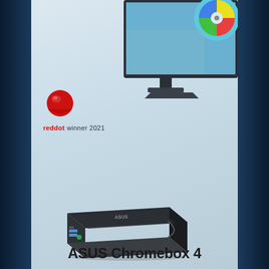[Figure (photo): ASUS Chromebox 4 product page showing a monitor in the upper right with colorful wheel graphic on screen, a Red Dot winner 2021 badge on the left, and the ASUS Chromebox 4 mini PC unit in the center, with the product name at the bottom.]
ASUS Chromebox 4